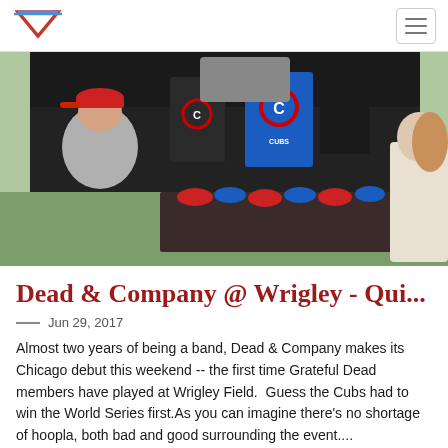Navigation bar with logo and hamburger menu
[Figure (photo): Outdoor merchandise stand with Chicago Cubs t-shirts and hats displayed on a rack under a black canopy tent. A person in a red baseball cap and grey shirt is visible on the left, and a woman in white is partially visible on the right. Cars and a parking lot are visible in the background.]
Dead & Company @ Wrigley - Qui...
Jun 29, 2017
Almost two years of being a band, Dead & Company makes its Chicago debut this weekend -- the first time Grateful Dead members have played at Wrigley Field.  Guess the Cubs had to win the World Series first.As you can imagine there's no shortage of hoopla, both bad and good surrounding the event....